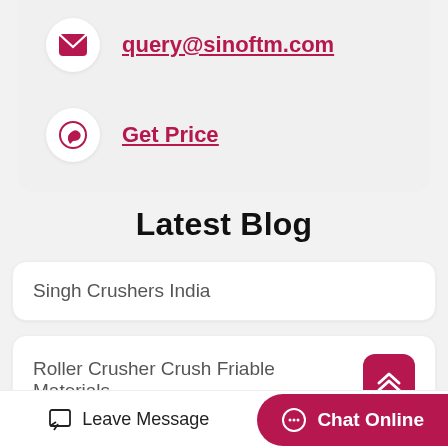query@sinoftm.com
Get Price
Latest Blog
Singh Crushers India
Roller Crusher Crush Friable Materials
How To Remove Gum From A Washing Machines Drum
Leave Message | Chat Online